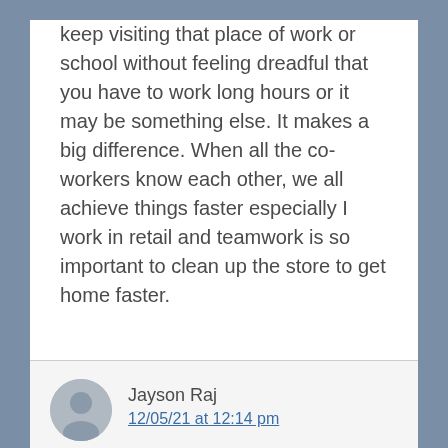keep visiting that place of work or school without feeling dreadful that you have to work long hours or it may be something else. It makes a big difference. When all the co-workers know each other, we all achieve things faster especially I work in retail and teamwork is so important to clean up the store to get home faster.
Jayson Raj
12/05/21 at 12:14 pm
The place that you choose to put yourself into and impact will define who